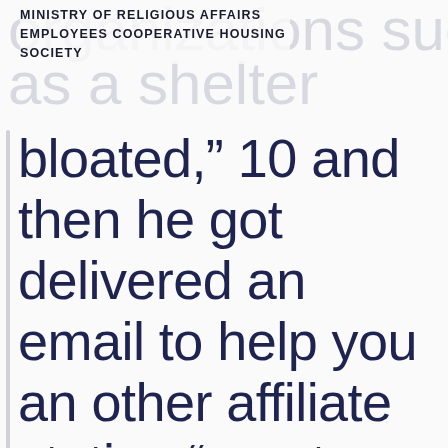MINISTRY OF RELIGIOUS AFFAIRS EMPLOYEES COOPERATIVE HOUSING SOCIETY
bloated,” 10 and then he got delivered an email to help you an other affiliate stating “good photos ? I might prefer to see